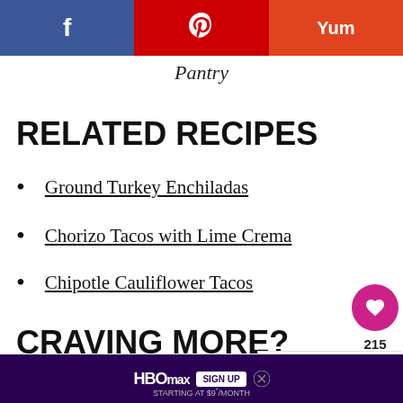Pantry
RELATED RECIPES
Ground Turkey Enchiladas
Chorizo Tacos with Lime Crema
Chipotle Cauliflower Tacos
CRAVING MORE?
Subscribe to My Casual Pantry to
WHAT'S NEXT → Panera Green Goddess...
[Figure (screenshot): HBOMax advertisement banner: HBOMAX SIGN UP STARTING AT $9*/MONTH on purple background with close button]